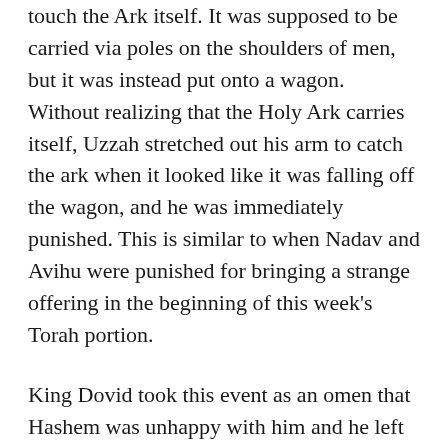touch the Ark itself. It was supposed to be carried via poles on the shoulders of men, but it was instead put onto a wagon. Without realizing that the Holy Ark carries itself, Uzzah stretched out his arm to catch the ark when it looked like it was falling off the wagon, and he was immediately punished. This is similar to when Nadav and Avihu were punished for bringing a strange offering in the beginning of this week's Torah portion.
King Dovid took this event as an omen that Hashem was unhappy with him and he left the Holy Ark by Oved-edom the Gittite, a Levi who was from Gat, for three month. Oved-edom was greatly blessed during those months, so King Dovid took that as a sign to continue the procession to Yerushalayim.
The next scene in the Navi describes a joyous parade escorting the Holy Ark: “Whenever the bearers of the Ark walked six paces, he slaughtered an ox and a